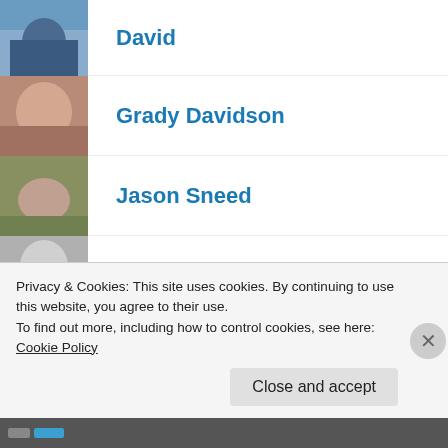David
Grady Davidson
Jason Sneed
Michael Wilson
Nick
Anthony Baker
Katie Marie
Wally Fry
Privacy & Cookies: This site uses cookies. By continuing to use this website, you agree to their use. To find out more, including how to control cookies, see here: Cookie Policy
Close and accept